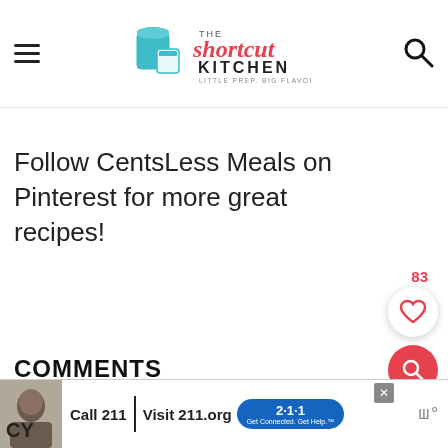The Shortcut Kitchen - Little Prep. Big Flavor.
Follow CentsLess Meals on Pinterest for more great recipes!
COMMENTS
[Figure (other): Advertisement banner: Call 211 | Visit 211.org with 2-1-1 badge logo]
CY